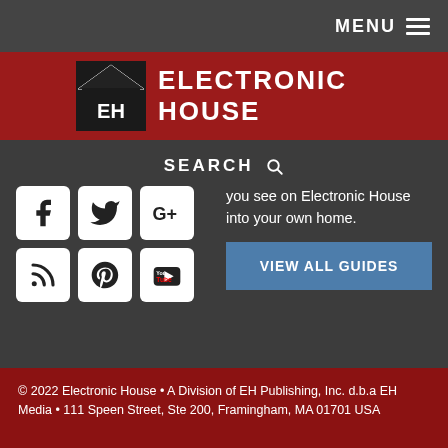MENU ☰
[Figure (logo): Electronic House logo — house-shaped icon with 'EH' letters on dark background beside 'ELECTRONIC HOUSE' text in white on red banner]
SEARCH 🔍
[Figure (infographic): Social media icons: Facebook, Twitter, Google+, RSS, Pinterest, YouTube — white squares with dark icons]
you see on Electronic House into your own home.
VIEW ALL GUIDES
© 2022 Electronic House • A Division of EH Publishing, Inc. d.b.a EH Media • 111 Speen Street, Ste 200, Framingham, MA 01701 USA